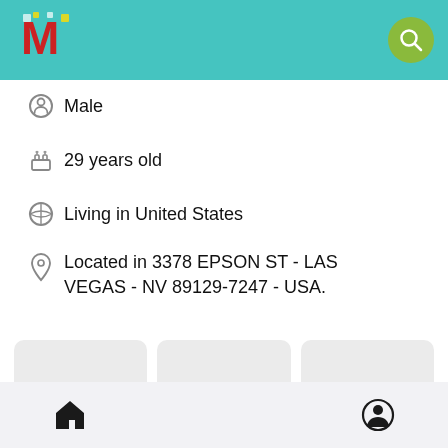[Figure (screenshot): App top navigation bar with logo on left and search (magnifying glass) icon button on right, teal/turquoise background]
Male
29 years old
Living in United States
Located in 3378 EPSON ST - LAS VEGAS - NV 89129-7247 - USA.
[Figure (other): Three gray placeholder image cards in a row]
[Figure (other): Bottom navigation bar with home icon on left and user/profile icon on right]